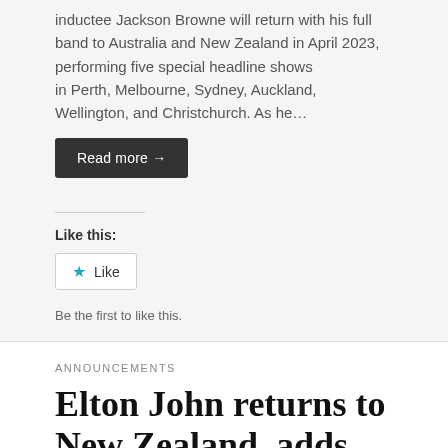inductee Jackson Browne will return with his full band to Australia and New Zealand in April 2023, performing five special headline shows
in Perth, Melbourne, Sydney, Auckland, Wellington, and Christchurch. As he…
Read more →
Like this:
★ Like
Be the first to like this.
ANNOUNCEMENTS
Elton John returns to New Zealand, adds Christchurch show in January 2023